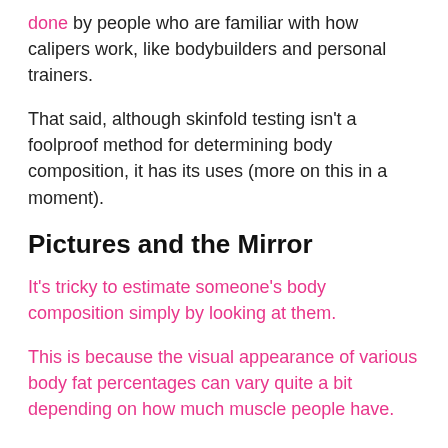done by people who are familiar with how calipers work, like bodybuilders and personal trainers.
That said, although skinfold testing isn't a foolproof method for determining body composition, it has its uses (more on this in a moment).
Pictures and the Mirror
It's tricky to estimate someone's body composition simply by looking at them.
This is because the visual appearance of various body fat percentages can vary quite a bit depending on how much muscle people have.